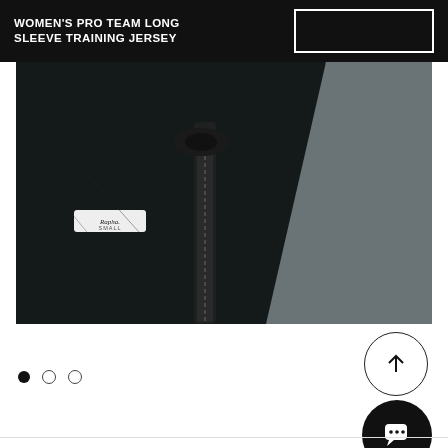WOMEN'S PRO TEAM LONG SLEEVE TRAINING JERSEY
[Figure (photo): Close-up photo of a Rapha cycling jersey showing the collar/zipper area, label reading 'Rapha SMALL', with black fabric on the left and grey/mint fabric sections on the right]
[Figure (other): Scroll-to-top circular button with upward arrow icon]
[Figure (other): Chat button - black circular button with speech bubble/chat icon]
● ○ ○